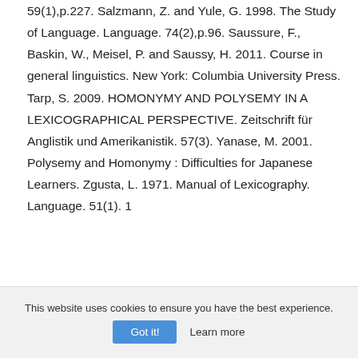59(1),p.227. Salzmann, Z. and Yule, G. 1998. The Study of Language. Language. 74(2),p.96. Saussure, F., Baskin, W., Meisel, P. and Saussy, H. 2011. Course in general linguistics. New York: Columbia University Press. Tarp, S. 2009. HOMONYMY AND POLYSEMY IN A LEXICOGRAPHICAL PERSPECTIVE. Zeitschrift für Anglistik und Amerikanistik. 57(3). Yanase, M. 2001. Polysemy and Homonymy : Difficulties for Japanese Learners. Zgusta, L. 1971. Manual of Lexicography. Language. 51(1). 1
This website uses cookies to ensure you have the best experience.
Got it!  Learn more